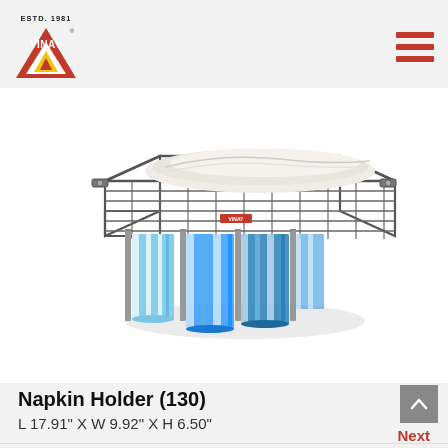ESTD. 1981 — VINAY logo
[Figure (photo): A wall-mounted wire napkin holder/basket (chrome/dark metal) with towels hanging from horizontal bars. The basket on top holds a folded white towel. Blue and white striped towels are draped over the lower hanging bars.]
Napkin Holder (130)
L 17.91" X W 9.92" X H 6.50"